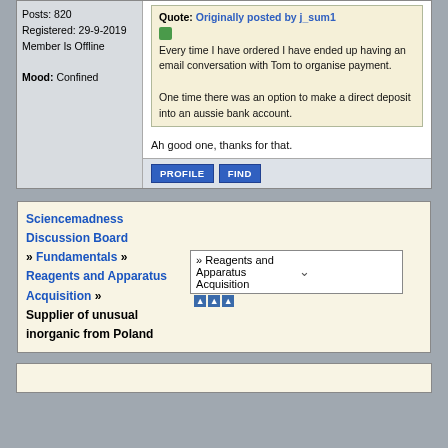Posts: 820
Registered: 29-9-2019
Member Is Offline
Mood: Confined
Quote: Originally posted by j_sum1

Every time I have ordered I have ended up having an email conversation with Tom to organise payment.

One time there was an option to make a direct deposit into an aussie bank account.
Ah good one, thanks for that.
PROFILE  FIND
Sciencemadness Discussion Board » Fundamentals » Reagents and Apparatus Acquisition » Supplier of unusual inorganic from Poland
» Reagents and Apparatus Acquisition